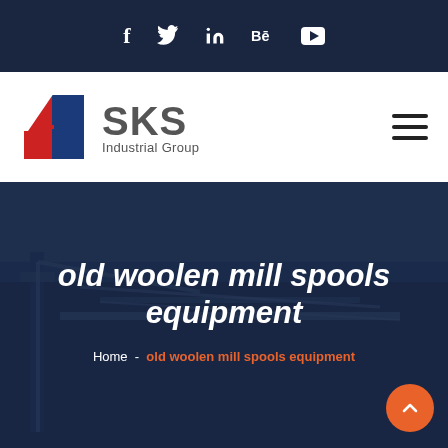f  twitter  in  Bē  youtube — social icons bar
[Figure (logo): SKS Industrial Group logo with red and blue K lettermark and text 'SKS Industrial Group']
[Figure (photo): Industrial construction site aerial photograph, dark blue overlay, showing structural steel and cranes]
old woolen mill spools equipment
Home - old woolen mill spools equipment